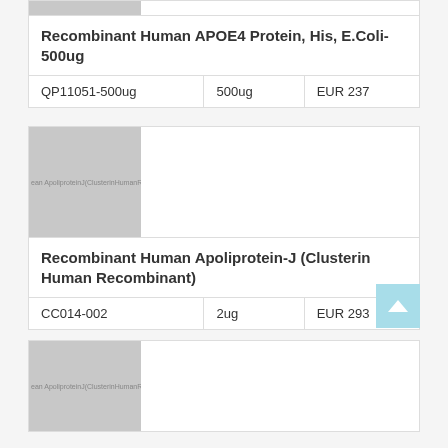|  |  |  |
| --- | --- | --- |
| Recombinant Human APOE4 Protein, His, E.Coli-500ug |  |  |
| QP11051-500ug | 500ug | EUR 237 |
|  |  |  |
| --- | --- | --- |
| Recombinant Human Apoliprotein-J (Clusterin Human Recombinant) |  |  |
| CC014-002 | 2ug | EUR 293 |
[Figure (photo): Product image placeholder for Apoliprotein-J (Clusterin Human Recombinant)]
[Figure (photo): Product image placeholder for third product (partial, cut off at bottom)]